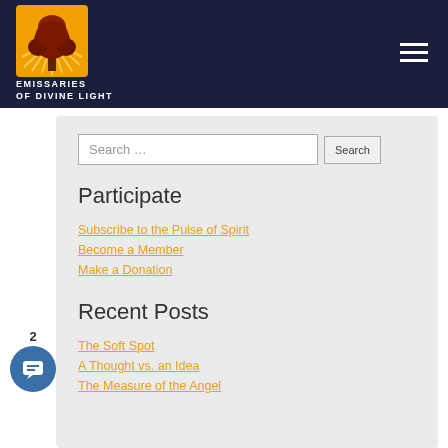Emissaries of Divine Light
[Figure (logo): Emissaries of Divine Light logo — orange square with tree silhouette radiating light beams, with org name below in white caps]
Search …
Participate
Subscribe to the Pulse of Spirit
Become a Member
Make a Donation
Recent Posts
The Soft Spot
A Thought vs. an Idea
The Measure of the Angel